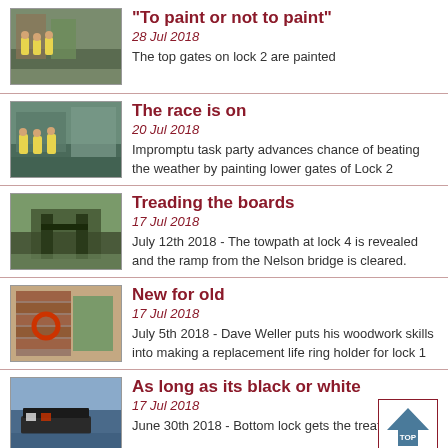[Figure (photo): Photo of people in yellow jackets near a canal lock]
"To paint or not to paint"
28 Jul 2018
The top gates on lock 2 are painted
[Figure (photo): Photo of people working near a canal lock]
The race is on
20 Jul 2018
Impromptu task party advances chance of beating the weather by painting lower gates of Lock 2
[Figure (photo): Photo of towpath and lock area]
Treading the boards
17 Jul 2018
July 12th 2018 - The towpath at lock 4 is revealed and the ramp from the Nelson bridge is cleared.
[Figure (photo): Photo of brick building with life ring holder]
New for old
17 Jul 2018
July 5th 2018 - Dave Weller puts his woodwork skills into making a replacement life ring holder for lock 1
[Figure (photo): Photo of canal with narrowboat]
As long as its black or white
17 Jul 2018
June 30th 2018 - Bottom lock gets the treatment